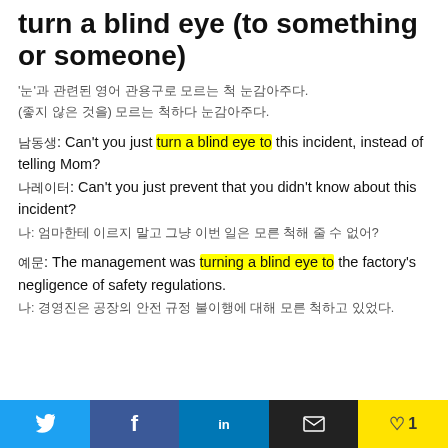turn a blind eye (to something or someone)
'눈'과 관련된 영어 관용구로 모르는 척 눈감아주다.
(좋지 않은 것을) 모르는 척하다 눈감아주다.
남동생: Can't you just turn a blind eye to this incident, instead of telling Mom?
나레이터: Can't you just prevent that you didn't know about this incident?
나: 엄마한테 이르지 말고 그냥 이번 일은 모른 척해 줄 수 없어?
예문: The management was turning a blind eye to the factory's negligence of safety regulations.
나: 경영진은 공장의 안전 규정 불이행에 대해 모른 척하고 있었다.
Twitter | Facebook | LinkedIn | Email | Like 1